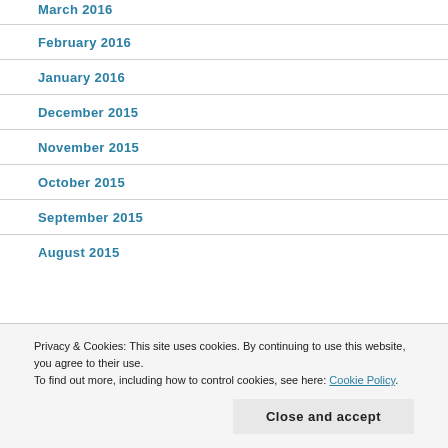March 2016
February 2016
January 2016
December 2015
November 2015
October 2015
September 2015
August 2015
Privacy & Cookies: This site uses cookies. By continuing to use this website, you agree to their use. To find out more, including how to control cookies, see here: Cookie Policy.
Close and accept